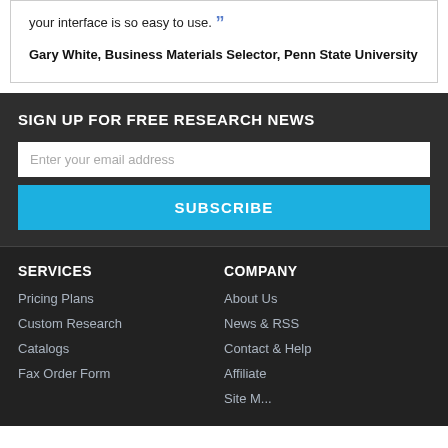your interface is so easy to use. ”
Gary White, Business Materials Selector, Penn State University
SIGN UP FOR FREE RESEARCH NEWS
Enter your email address
SUBSCRIBE
SERVICES
COMPANY
Pricing Plans
About Us
Custom Research
News & RSS
Catalogs
Contact & Help
Fax Order Form
Affiliate
Site M...